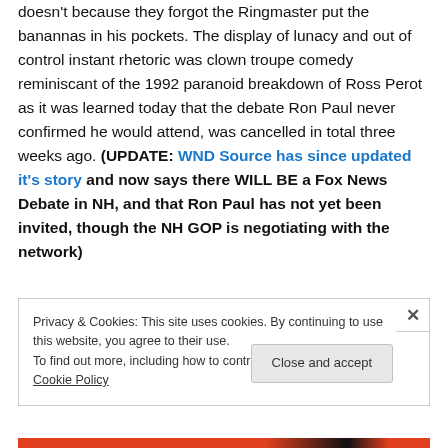doesn't because they forgot the Ringmaster put the banannas in his pockets. The display of lunacy and out of control instant rhetoric was clown troupe comedy reminiscant of the 1992 paranoid breakdown of Ross Perot as it was learned today that the debate Ron Paul never confirmed he would attend, was cancelled in total three weeks ago. (UPDATE: WND Source has since updated it's story and now says there WILL BE a Fox News Debate in NH, and that Ron Paul has not yet been invited, though the NH GOP is negotiating with the network)
Privacy & Cookies: This site uses cookies. By continuing to use this website, you agree to their use. To find out more, including how to control cookies, see here: Cookie Policy